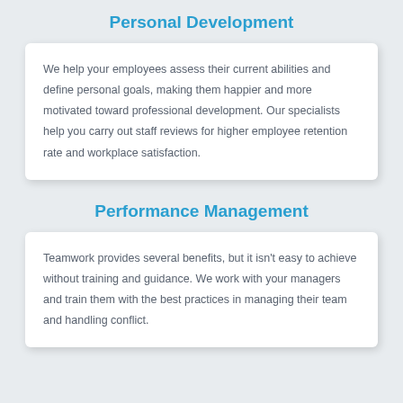Personal Development
We help your employees assess their current abilities and define personal goals, making them happier and more motivated toward professional development. Our specialists help you carry out staff reviews for higher employee retention rate and workplace satisfaction.
Performance Management
Teamwork provides several benefits, but it isn't easy to achieve without training and guidance. We work with your managers and train them with the best practices in managing their team and handling conflict.